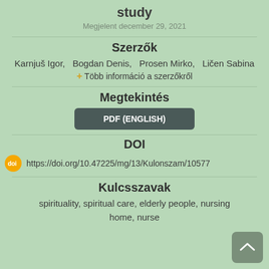study
Megjelent december 29, 2021
Szerzők
Karnjuš Igor,  Bogdan Denis,  Prosen Mirko,  Ličen Sabina
+ Több információ a szerzőkről
Megtekintés
PDF (ENGLISH)
DOI
https://doi.org/10.47225/mg/13/Kulonszam/10577
Kulcsszavak
spirituality, spiritual care, elderly people, nursing home, nurse